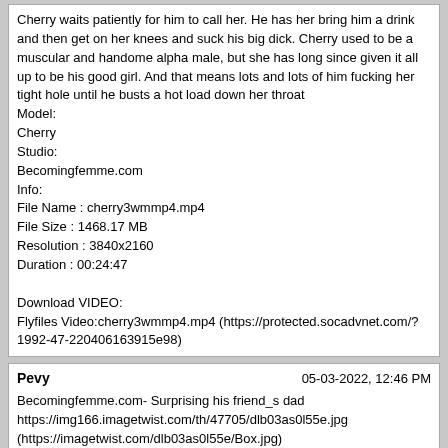Cherry waits patiently for him to call her. He has her bring him a drink and then get on her knees and suck his big dick. Cherry used to be a muscular and handome alpha male, but she has long since given it all up to be his good girl. And that means lots and lots of him fucking her tight hole until he busts a hot load down her throat
Model:
Cherry
Studio:
Becomingfemme.com
Info:
File Name : cherry3wmmp4.mp4
File Size : 1468.17 MB
Resolution : 3840x2160
Duration : 00:24:47

Download VIDEO:
Flyfiles Video:cherry3wmmp4.mp4 (https://protected.socadvnet.com/?1992-47-220406163915e98)
Pevy	05-03-2022, 12:46 PM
Becomingfemme.com- Surprising his friend_s dad
https://img166.imagetwist.com/th/47705/dlb03as0l55e.jpg
(https://imagetwist.com/dlb03as0l55e/Box.jpg)
https://img69.imagetwist.com/th/47705/np9nn5m0w0m6.jpg
(https://imagetwist.com/np9nn5m0w0m6/cTeCeLib.jpg)

Description:
Riley Cross has a secret and that secret is that he is a really sexy girl. He dresses up in the sluttiest outfits and when his buddie_s dad walks into the room, well you can guess what happens next. Christian is shocked to see a sexy girl where a guy used to be, and it really really turns him on. He is down to fuck her tight ass and soon Riley is riding that big dick and sucking it over and over. What chemistry these two have
Model:
Riley Cross
Studio: